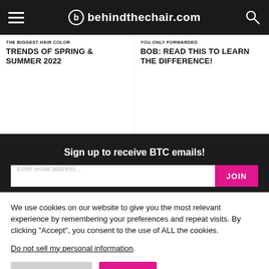behindthechair.com
TRENDS OF SPRING & SUMMER 2022
BOB: READ THIS TO LEARN THE DIFFERENCE!
Sign up to receive BTC emails!
We use cookies on our website to give you the most relevant experience by remembering your preferences and repeat visits. By clicking “Accept”, you consent to the use of ALL the cookies.
Do not sell my personal information.
Cookie Settings
Accept